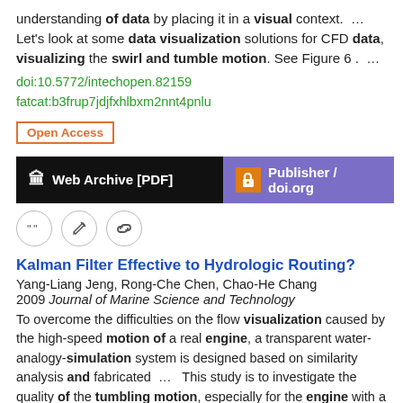understanding of data by placing it in a visual context. … Let's look at some data visualization solutions for CFD data, visualizing the swirl and tumble motion. See Figure 6 . …
doi:10.5772/intechopen.82159
fatcat:b3frup7jdjfxhlbxm2nnt4pnlu
Open Access
[Figure (infographic): Two buttons: 'Web Archive [PDF]' on black background and 'Publisher / doi.org' on purple background with orange lock icon]
[Figure (infographic): Three circular icon buttons: quote, edit, and link]
Kalman Filter Effective to Hydrologic Routing?
Yang-Liang Jeng, Rong-Che Chen, Chao-He Chang
2009 Journal of Marine Science and Technology
To overcome the difficulties on the flow visualization caused by the high-speed motion of a real engine, a transparent water-analogy-simulation system is designed based on similarity analysis and fabricated … This study is to investigate the quality of the tumbling motion, especially for the engine with a bowl-in-piston. … The flow structure extracted from the PIA measurements in this figure show resemblance to the flow visualization result shown in Fig. 2 , which